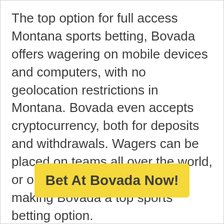The top option for full access Montana sports betting, Bovada offers wagering on mobile devices and computers, with no geolocation restrictions in Montana. Bovada even accepts cryptocurrency, both for deposits and withdrawals. Wagers can be placed on teams all over the world, or on teams close to home, making Bovada a top sports betting option.
Bet At Bovada Now!